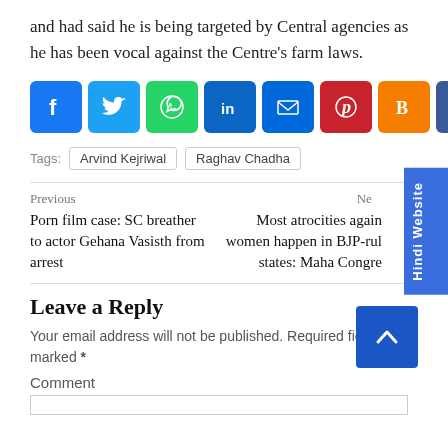and had said he is being targeted by Central agencies as he has been vocal against the Centre's farm laws.
[Figure (infographic): Row of social sharing icons: Facebook, Twitter, WhatsApp, LinkedIn, Email, Pinterest, Blogger, Add (+)]
Tags: Arvind Kejriwal  Raghav Chadha
Previous
Porn film case: SC breather to actor Gehana Vasisth from arrest
Ne
Most atrocities again women happen in BJP-rul states: Maha Congre
Leave a Reply
Your email address will not be published. Required fields are marked *
Comment